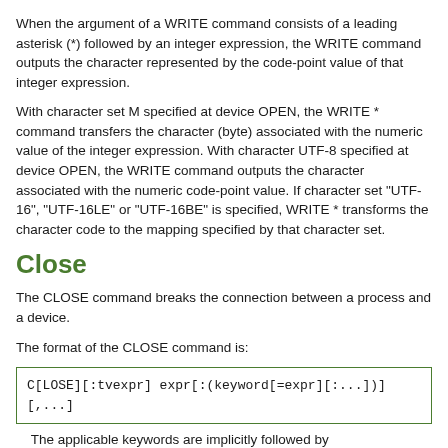When the argument of a WRITE command consists of a leading asterisk (*) followed by an integer expression, the WRITE command outputs the character represented by the code-point value of that integer expression.
With character set M specified at device OPEN, the WRITE * command transfers the character (byte) associated with the numeric value of the integer expression. With character UTF-8 specified at device OPEN, the WRITE command outputs the character associated with the numeric code-point value. If character set "UTF-16", "UTF-16LE" or "UTF-16BE" is specified, WRITE * transforms the character code to the mapping specified by that character set.
Close
The CLOSE command breaks the connection between a process and a device.
The format of the CLOSE command is:
C[LOSE][:tvexpr] expr[:(keyword[=expr][:...])][,...]
The applicable keywords are implicitly followed by